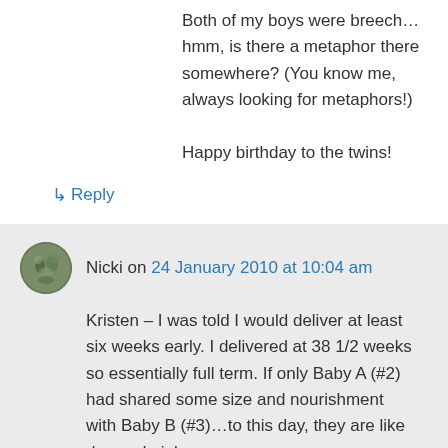Both of my boys were breech…hmm, is there a metaphor there somewhere? (You know me, always looking for metaphors!)

Happy birthday to the twins!
↳ Reply
Nicki on 24 January 2010 at 10:04 am
Kristen – I was told I would deliver at least six weeks early. I delivered at 38 1/2 weeks so essentially full term. If only Baby A (#2) had shared some size and nourishment with Baby B (#3)…to this day, they are like day and nigh.